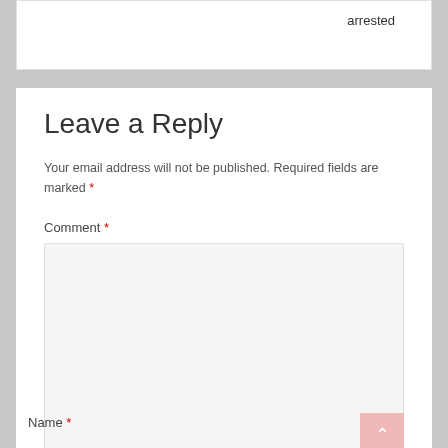arrested
Leave a Reply
Your email address will not be published. Required fields are marked *
Comment *
Name *